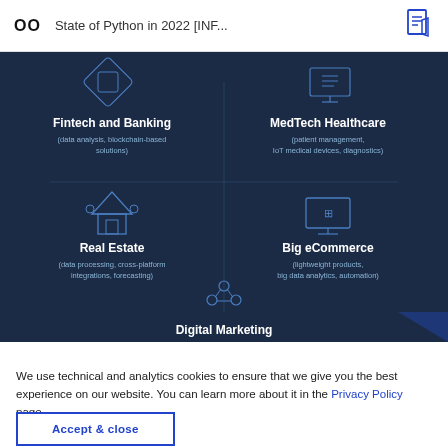OO   State of Python in 2022 [INF...
[Figure (infographic): Dark blue infographic showing Python use cases by industry: Fintech and Banking (data analysis, blockchain-based solutions), MedTech Healthcare (patient management, IoT medical devices, diagnostics), Real Estate (data processing, cross-platform integrations, forecasting), Big eCommerce (lightweight products, big data analytics, automation), Digital Marketing (partially visible at bottom). Each section has a small line-art icon above it.]
We use technical and analytics cookies to ensure that we give you the best experience on our website. You can learn more about it in the Privacy Policy page.
Accept & close